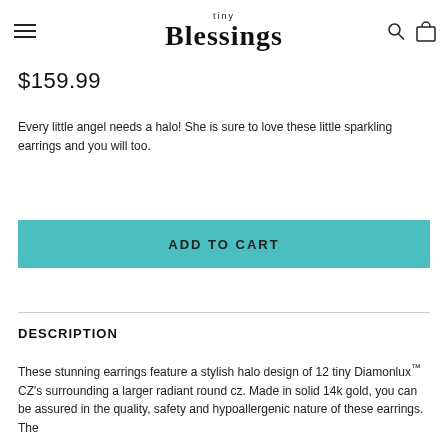tiny Blessings
$159.99
Every little angel needs a halo! She is sure to love these little sparkling earrings and you will too.
ADD TO CART
DESCRIPTION
These stunning earrings feature a stylish halo design of 12 tiny Diamonlux™ CZ's surrounding a larger radiant round cz. Made in solid 14k gold, you can be assured in the quality, safety and hypoallergenic nature of these earrings. The